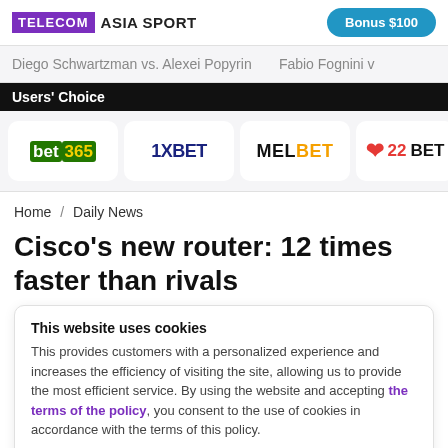TELECOM ASIA SPORT | Bonus $100
Diego Schwartzman vs. Alexei Popyrin   Fabio Fognini v
Users' Choice
[Figure (logo): Bookmaker logos row: bet365, 1XBET, MELBET, 22BET]
Home / Daily News
Cisco's new router: 12 times faster than rivals
This website uses cookies
This provides customers with a personalized experience and increases the efficiency of visiting the site, allowing us to provide the most efficient service. By using the website and accepting the terms of the policy, you consent to the use of cookies in accordance with the terms of this policy.
I agree